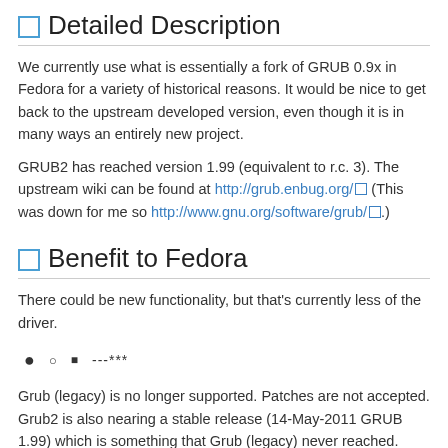Detailed Description
We currently use what is essentially a fork of GRUB 0.9x in Fedora for a variety of historical reasons. It would be nice to get back to the upstream developed version, even though it is in many ways an entirely new project.
GRUB2 has reached version 1.99 (equivalent to r.c. 3). The upstream wiki can be found at http://grub.enbug.org/ (This was down for me so http://www.gnu.org/software/grub/.)
Benefit to Fedora
There could be new functionality, but that's currently less of the driver.
● ○ ■ ---***
Grub (legacy) is no longer supported. Patches are not accepted. Grub2 is also nearing a stable release (14-May-2011 GRUB 1.99) which is something that Grub (legacy) never reached.